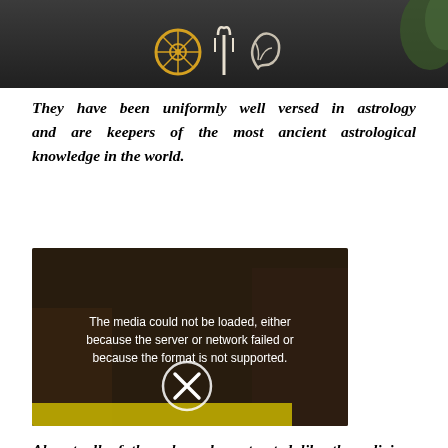[Figure (photo): Top portion of a temple or religious building facade with decorative symbols including a wheel, trident/fork, and conch shell on a dark banner/frieze, with greenery visible at right edge.]
They have been uniformly well versed in astrology and are keepers of the most ancient astrological knowledge in the world.
[Figure (photo): Video player showing a scene with people in traditional/religious attire, with a media error overlay reading: 'The media could not be loaded, either because the server or network failed or because the format is not supported.' and an X button circle in the center.]
Almost all of them have been treated like the religious leaders and the astrological guides from time